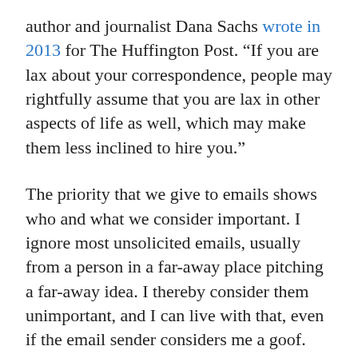author and journalist Dana Sachs wrote in 2013 for The Huffington Post. “If you are lax about your correspondence, people may rightfully assume that you are lax in other aspects of life as well, which may make them less inclined to hire you.”
The priority that we give to emails shows who and what we consider important. I ignore most unsolicited emails, usually from a person in a far-away place pitching a far-away idea. I thereby consider them unimportant, and I can live with that, even if the email sender considers me a goof.